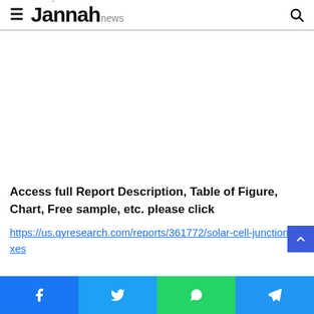≡ Jannah news [search icon]
[Figure (other): Advertisement or blank white space area]
Access full Report Description, Table of Figure, Chart, Free sample, etc. please click
https://us.qyresearch.com/reports/361772/solar-cell-junction-boxes